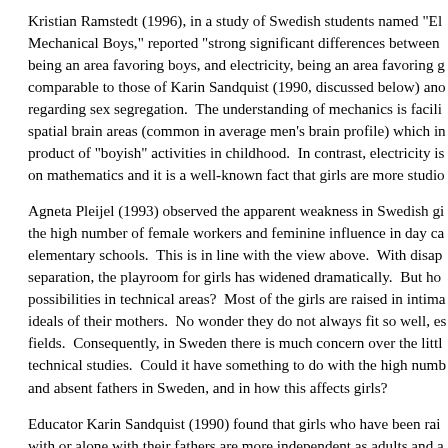Kristian Ramstedt (1996), in a study of Swedish students named "El Mechanical Boys," reported "strong significant differences between being an area favoring boys, and electricity, being an area favoring g comparable to those of Karin Sandquist (1990, discussed below) ano regarding sex segregation.  The understanding of mechanics is facili spatial brain areas (common in average men's brain profile) which in product of "boyish" activities in childhood.  In contrast, electricity is on mathematics and it is a well-known fact that girls are more studio
Agneta Pleijel (1993) observed the apparent weakness in Swedish gi the high number of female workers and feminine influence in day ca elementary schools.  This is in line with the view above.  With disap separation, the playroom for girls has widened dramatically.  But ho possibilities in technical areas?  Most of the girls are raised in intima ideals of their mothers.  No wonder they do not always fit so well, es fields.  Consequently, in Sweden there is much concern over the littl technical studies.  Could it have something to do with the high numb and absent fathers in Sweden, and in how this affects girls?
Educator Karin Sandquist (1990) found that girls who have been rai with or alone with their fathers are more independent as adults and a educational levels than do other girls.  She reports that fathers stimu the direction of natural sciences while their mothers stimulated them social sciences.  She also found that Swedish fathers, to a higher deg fathers, encouraged their daughters in more masculine" fields.  If the